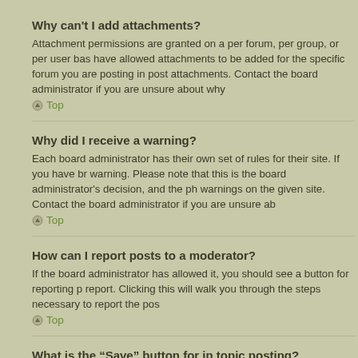Why can't I add attachments?
Attachment permissions are granted on a per forum, per group, or per user bas... have allowed attachments to be added for the specific forum you are posting in... post attachments. Contact the board administrator if you are unsure about why...
Top
Why did I receive a warning?
Each board administrator has their own set of rules for their site. If you have br... warning. Please note that this is the board administrator's decision, and the ph... warnings on the given site. Contact the board administrator if you are unsure ab...
Top
How can I report posts to a moderator?
If the board administrator has allowed it, you should see a button for reporting p... report. Clicking this will walk you through the steps necessary to report the pos...
Top
What is the “Save” button for in topic posting?
This allows you to save passages to be completed and submitted at a later dat... User Control Panel.
Top
Why does my post need to be approved?
The board administrator may have decided that posts in the forum you are post... submission. It is also possible that the administrator has placed you in a group...